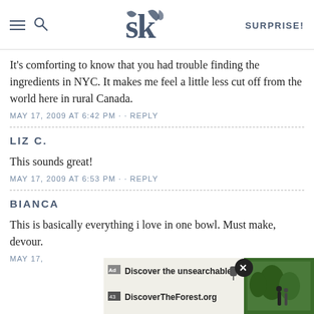SK logo | SURPRISE!
It's comforting to know that you had trouble finding the ingredients in NYC. It makes me feel a little less cut off from the world here in rural Canada.
MAY 17, 2009 AT 6:42 PM · · REPLY
LIZ C.
This sounds great!
MAY 17, 2009 AT 6:53 PM · · REPLY
BIANCA
This is basically everything i love in one bowl. Must make, devour.
MAY 17,
[Figure (screenshot): Advertisement banner: 'Discover the unsearchable / DiscoverTheForest.org' with forest photo and close button]